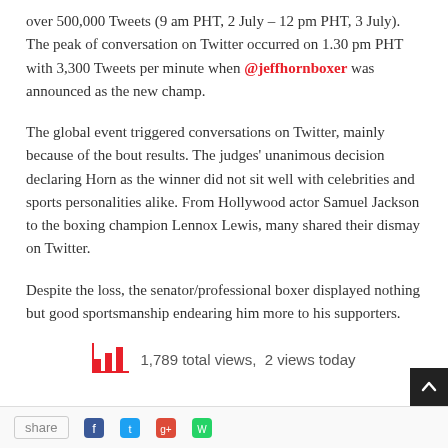over 500,000 Tweets (9 am PHT, 2 July – 12 pm PHT, 3 July). The peak of conversation on Twitter occurred on 1.30 pm PHT with 3,300 Tweets per minute when @jeffhornboxer was announced as the new champ.
The global event triggered conversations on Twitter, mainly because of the bout results. The judges' unanimous decision declaring Horn as the winner did not sit well with celebrities and sports personalities alike. From Hollywood actor Samuel Jackson to the boxing champion Lennox Lewis, many shared their dismay on Twitter.
Despite the loss, the senator/professional boxer displayed nothing but good sportsmanship endearing him more to his supporters.
1,789 total views,  2 views today